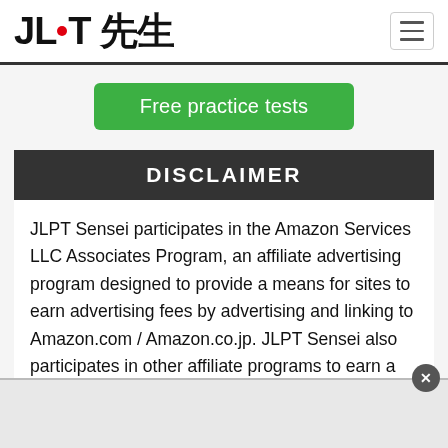JLPT 先生
Free practice tests
DISCLAIMER
JLPT Sensei participates in the Amazon Services LLC Associates Program, an affiliate advertising program designed to provide a means for sites to earn advertising fees by advertising and linking to Amazon.com / Amazon.co.jp. JLPT Sensei also participates in other affiliate programs to earn a commission at no extra cost to you.